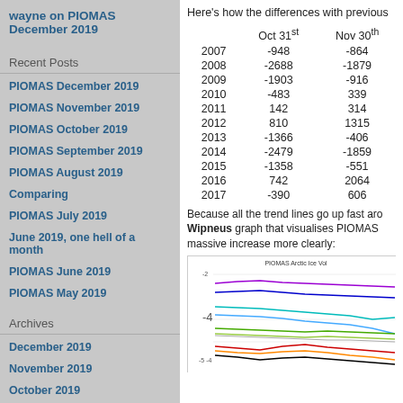wayne on PIOMAS December 2019
Recent Posts
PIOMAS December 2019
PIOMAS November 2019
PIOMAS October 2019
PIOMAS September 2019
PIOMAS August 2019
Comparing
PIOMAS July 2019
June 2019, one hell of a month
PIOMAS June 2019
PIOMAS May 2019
Archives
December 2019
November 2019
October 2019
September 2019
Here's how the differences with previous
|  | Oct 31st | Nov 30th |
| --- | --- | --- |
| 2007 | -948 | -864 |
| 2008 | -2688 | -1879 |
| 2009 | -1903 | -916 |
| 2010 | -483 | 339 |
| 2011 | 142 | 314 |
| 2012 | 810 | 1315 |
| 2013 | -1366 | -406 |
| 2014 | -2479 | -1859 |
| 2015 | -1358 | -551 |
| 2016 | 742 | 2064 |
| 2017 | -390 | 606 |
Because all the trend lines go up fast aro Wipneus graph that visualises PIOMAS massive increase more clearly:
[Figure (line-chart): PIOMAS Arctic Ice Volume line chart showing multiple colored trend lines]